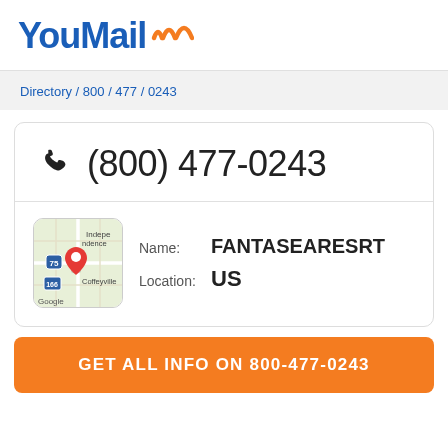YouMail:))
Directory / 800 / 477 / 0243
(800) 477-0243
[Figure (map): Google Maps thumbnail showing area around Independence and Coffeyville with a red location pin marker]
Name: FANTASEARESRT
Location: US
GET ALL INFO ON 800-477-0243